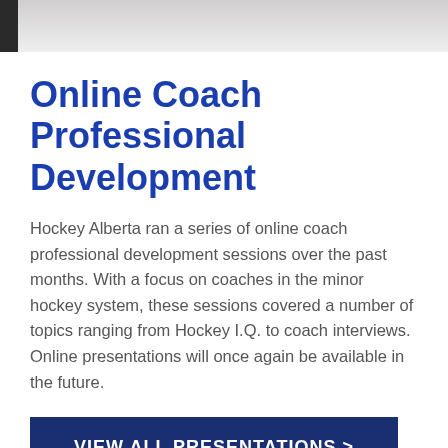[Figure (photo): Partial photo strip at top of page showing a light grey background with a dark element on the left edge]
Online Coach Professional Development
Hockey Alberta ran a series of online coach professional development sessions over the past months. With a focus on coaches in the minor hockey system, these sessions covered a number of topics ranging from Hockey I.Q. to coach interviews. Online presentations will once again be available in the future.
VIEW ALL PRESENTATIONS >